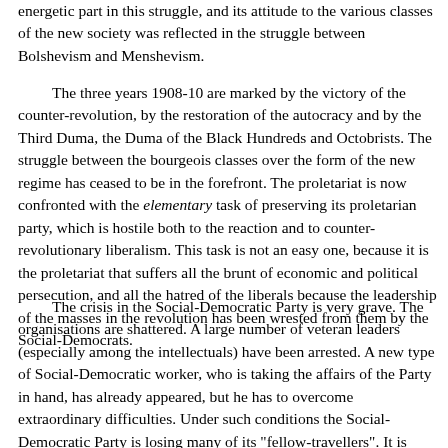energetic part in this struggle, and its attitude to the various classes of the new society was reflected in the struggle between Bolshevism and Menshevism.
The three years 1908-10 are marked by the victory of the counter-revolution, by the restoration of the autocracy and by the Third Duma, the Duma of the Black Hundreds and Octobrists. The struggle between the bourgeois classes over the form of the new regime has ceased to be in the forefront. The proletariat is now confronted with the elementary task of preserving its proletarian party, which is hostile both to the reaction and to counter-revolutionary liberalism. This task is not an easy one, because it is the proletariat that suffers all the brunt of economic and political persecution, and all the hatred of the liberals because the leadership of the masses in the revolution has been wrested from them by the Social-Democrats.
The crisis in the Social-Democratic Party is very grave. The organisations are shattered. A large number of veteran leaders (especially among the intellectuals) have been arrested. A new type of Social-Democratic worker, who is taking the affairs of the Party in hand, has already appeared, but he has to overcome extraordinary difficulties. Under such conditions the Social-Democratic Party is losing many of its "fellow-travellers". It is natural that petty-bourgeois